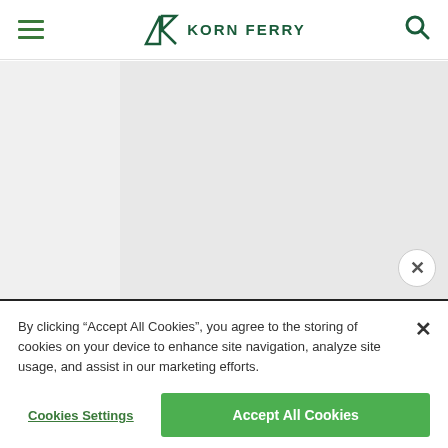Korn Ferry navigation bar with hamburger menu, logo, and search icon
[Figure (screenshot): Gray content area representing a webpage screenshot background]
By clicking "Accept All Cookies", you agree to the storing of cookies on your device to enhance site navigation, analyze site usage, and assist in our marketing efforts.
Cookies Settings
Accept All Cookies